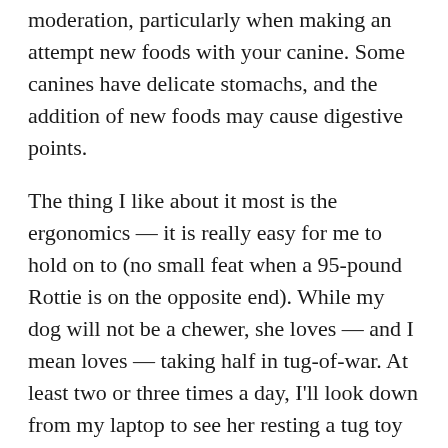moderation, particularly when making an attempt new foods with your canine. Some canines have delicate stomachs, and the addition of new foods may cause digestive points.
The thing I like about it most is the ergonomics — it is really easy for me to hold on to (no small feat when a 95-pound Rottie is on the opposite end). While my dog will not be a chewer, she loves — and I mean loves — taking half in tug-of-war. At least two or three times a day, I'll look down from my laptop to see her resting a tug toy on my lap and giving me the eyes. With his doggo's desire in thoughts, Markham crafted the basic purple Kong we all know at present. On the draw back, it doesn't maintain up as well to aggressive chewers.
If you've a canine who prefers to grab the flyer off the ground as an alternative of catching it, it's simpler for